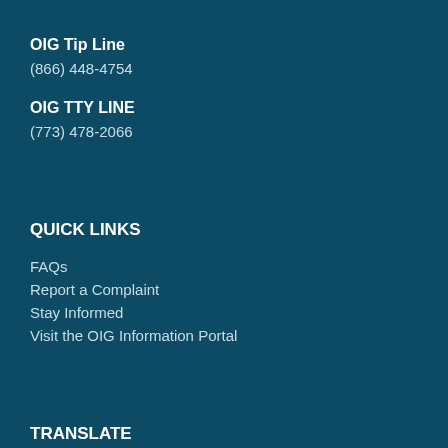OIG Tip Line
(866) 448-4754
OIG TTY LINE
(773) 478-2066
QUICK LINKS
FAQs
Report a Complaint
Stay Informed
Visit the OIG Information Portal
TRANSLATE